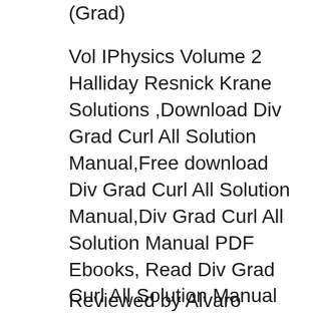(Grad)
Vol IPhysics Volume 2 Halliday Resnick Krane Solutions ,Download Div Grad Curl All Solution Manual,Free download Div Grad Curl All Solution Manual,Div Grad Curl All Solution Manual PDF Ebooks, Read Div Grad Curl All Solution Manual PDF Books,Div Grad Curl All Solution Manual PDF Ebooks,Free Ebook Div Grad Curl All Solution Manual, Div Grad Curl And All That Solutions Manual And the best book for that is "Div, Grad, Curl and All That" by Schey keep up and don't copy all the problem sets out of вЂ¦
Reviewed by Alvaro Angelo For your